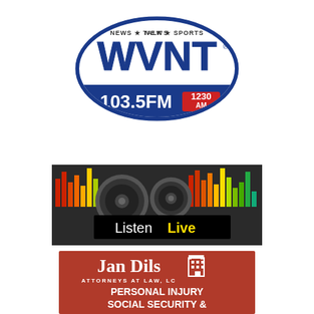[Figure (logo): WVNT radio station logo: blue oval shape with 'NEWS TALK SPORTS' text at top with red stars, large 'WVNT' letters in white with blue outline, '103.5FM' in large blue text, '1230 AM' in red box]
[Figure (logo): Listen Live logo: two speaker/subwoofer icons with colorful equalizer bars in background, black banner with 'Listen Live' text in white and yellow]
[Figure (logo): Jan Dils Attorneys at Law, LC advertisement: red/brown background, white text 'JAN DILS' in large serif font with building icon, 'ATTORNEYS AT LAW, LC' in small caps, 'PERSONAL INJURY' and 'SOCIAL SECURITY &' in bold white text]